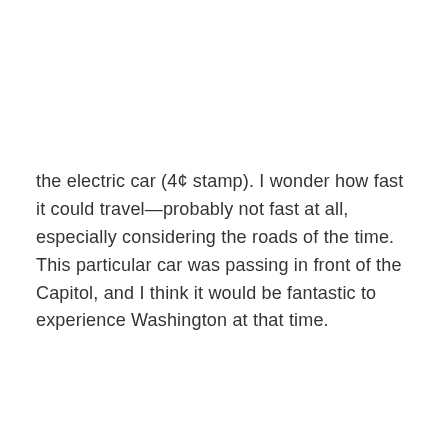the electric car (4¢ stamp). I wonder how fast it could travel—probably not fast at all, especially considering the roads of the time. This particular car was passing in front of the Capitol, and I think it would be fantastic to experience Washington at that time.